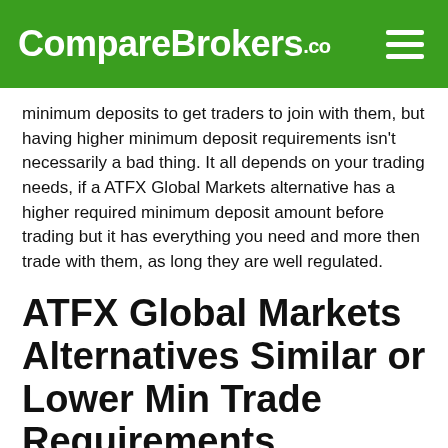CompareBrokers.co
minimum deposits to get traders to join with them, but having higher minimum deposit requirements isn't necessarily a bad thing. It all depends on your trading needs, if a ATFX Global Markets alternative has a higher required minimum deposit amount before trading but it has everything you need and more then trade with them, as long they are well regulated.
ATFX Global Markets Alternatives Similar or Lower Min Trade Requirements